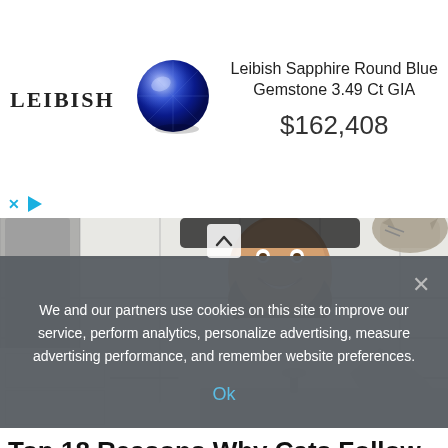[Figure (other): Leibish advertisement banner showing logo, blue sapphire gemstone, product title 'Leibish Sapphire Round Blue Gemstone 3.49 Ct GIA' and price '$162,408']
[Figure (photo): Man smiling at the camera while crouching at a bathroom sink, with a cat on the counter in the background]
Top 18 Reasons Why Cats Follow Us to The Bathroom
We and our partners use cookies on this site to improve our service, perform analytics, personalize advertising, measure advertising performance, and remember website preferences.
Ok